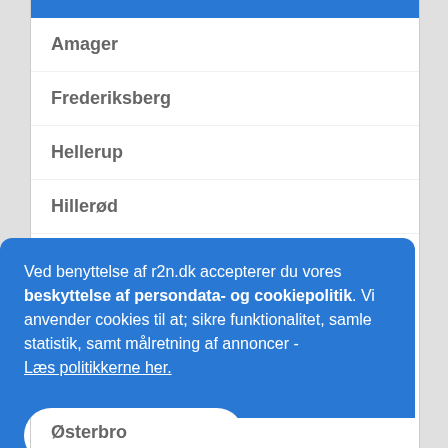Amager
Frederiksberg
Hellerup
Hillerød
København
Ved benyttelse af r2n.dk accepterer du vores beskyttelse af persondata- og cookiepolitik. Vi anvender cookies til at; sikre funktionalitet, samle statistik, samt målretning af annoncer - Læs politikkerne her.
OK
Østerbro